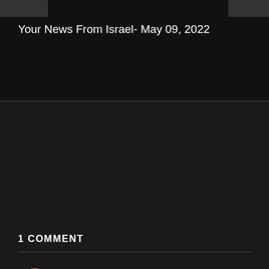[Figure (photo): Partial photo strip of people in suits at top of page]
Your News From Israel- May 09, 2022
1 COMMENT
Michael Sachs
4 months ago
It's beyond highly inappropriate for Asaf Nissan's report to refer to savage barbarian cowardly terrorists as simply militants.
Reply